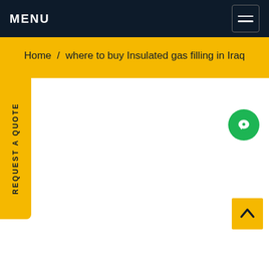MENU
Home / where to buy Insulated gas filling in Iraq
[Figure (other): Vertical yellow sidebar tab with rotated text reading REQUEST A QUOTE]
[Figure (other): Green circular chat button in the top-right area of the content section]
[Figure (other): Yellow square back-to-top button with upward arrow chevron in the bottom-right corner]